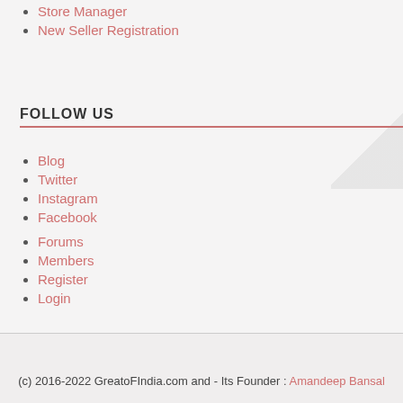Store Manager
New Seller Registration
FOLLOW US
Blog
Twitter
Instagram
Facebook
Forums
Members
Register
Login
[Figure (other): SSL Secure Connection badge with padlock icon]
(c) 2016-2022 GreatoFIndia.com and - Its Founder : Amandeep Bansal